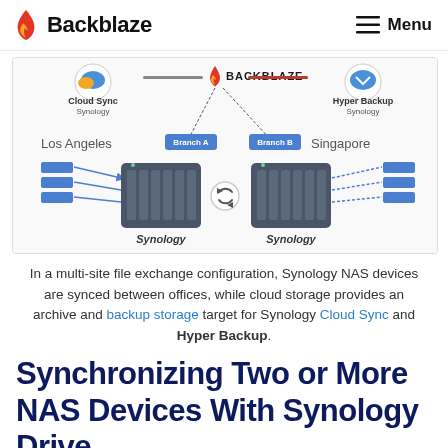Backblaze  Menu
[Figure (infographic): Multi-site file exchange configuration diagram showing two Synology NAS devices (Los Angeles - Branch A, Singapore - Branch B) synced together, with Cloud Sync and Hyper Backup connecting to Backblaze cloud storage above.]
In a multi-site file exchange configuration, Synology NAS devices are synced between offices, while cloud storage provides an archive and backup storage target for Synology Cloud Sync and Hyper Backup.
Synchronizing Two or More NAS Devices With Synology Drive